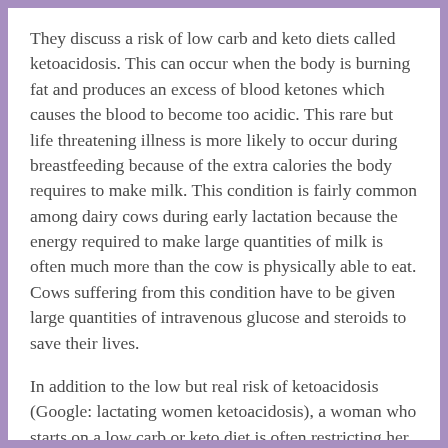They discuss a risk of low carb and keto diets called ketoacidosis. This can occur when the body is burning fat and produces an excess of blood ketones which causes the blood to become too acidic. This rare but life threatening illness is more likely to occur during breastfeeding because of the extra calories the body requires to make milk. This condition is fairly common among dairy cows during early lactation because the energy required to make large quantities of milk is often much more than the cow is physically able to eat. Cows suffering from this condition have to be given large quantities of intravenous glucose and steroids to save their lives.
In addition to the low but real risk of ketoacidosis (Google: lactating women ketoacidosis), a woman who starts on a low carb or keto diet is often restricting her daily calorie intake very rapidly and this can result in a decrease in milk